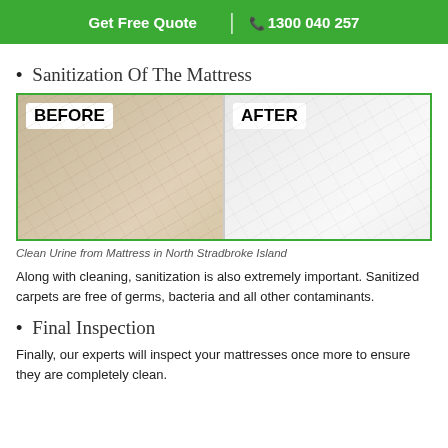Get Free Quote | 1300 040 257
Sanitization Of The Mattress
[Figure (photo): Before and after comparison of a mattress. Left panel labeled BEFORE shows a yellowed/stained mattress surface. Right panel labeled AFTER shows a clean white mattress surface. Both panels framed with a green border.]
Clean Urine from Mattress in North Stradbroke Island
Along with cleaning, sanitization is also extremely important. Sanitized carpets are free of germs, bacteria and all other contaminants.
Final Inspection
Finally, our experts will inspect your mattresses once more to ensure they are completely clean.